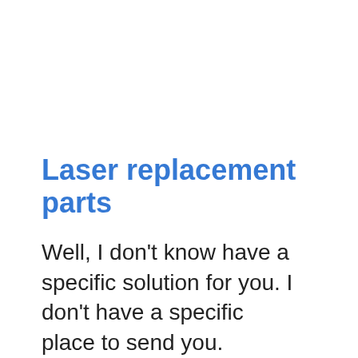Laser replacement parts
Well, I don’t know have a specific solution for you. I don’t have a specific place to send you.